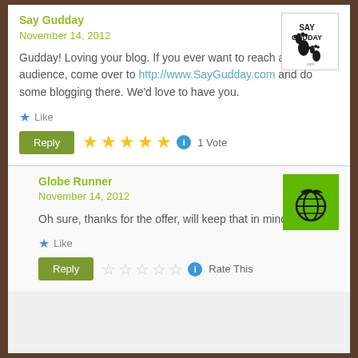Say Gudday
November 14, 2012
Gudday! Loving your blog. If you ever want to reach a new audience, come over to http://www.SayGudday.com and do some blogging there. We'd love to have you.
Like
[Figure (logo): Say Gudday logo with footprints]
Reply | ★★★★★ 1 Vote
Globe Runner
November 14, 2012
Oh sure, thanks for the offer, will keep that in mind 🙂
[Figure (logo): Globe Runner green logo with globe]
Like
Reply | Rate This